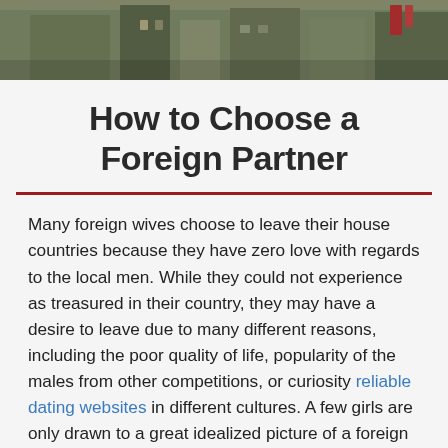[Figure (photo): Outdoor photo strip showing buildings/structures in a muted greenish-brown urban setting]
How to Choose a Foreign Partner
Many foreign wives choose to leave their house countries because they have zero love with regards to the local men. While they could not experience as treasured in their country, they may have a desire to leave due to many different reasons, including the poor quality of life, popularity of the males from other competitions, or curiosity reliable dating websites in different cultures. A few girls are only drawn to a great idealized picture of a foreign guy that they find by using an online dating site.
Locations of foreign better half can be a difficult to d…